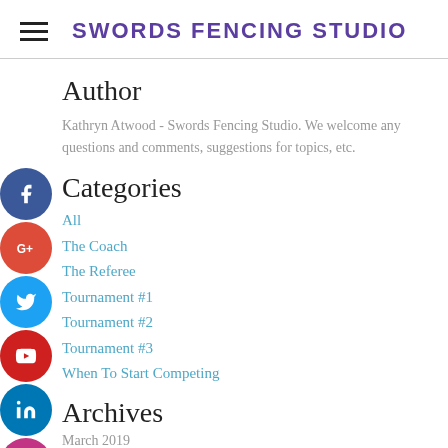SWORDS FENCING STUDIO
Author
Kathryn Atwood - Swords Fencing Studio.  We welcome any questions and comments, suggestions for topics, etc.
Categories
All
The Coach
The Referee
Tournament #1
Tournament #2
Tournament #3
When To Start Competing
Archives
March 2019